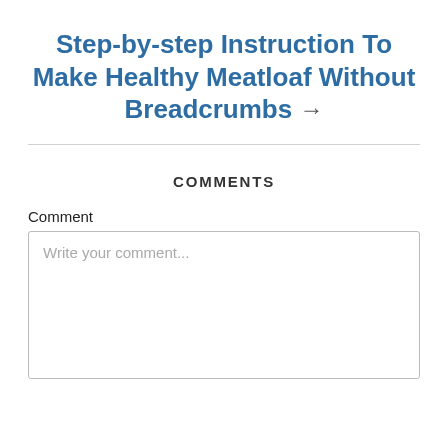Step-by-step Instruction To Make Healthy Meatloaf Without Breadcrumbs →
COMMENTS
Comment
Write your comment...